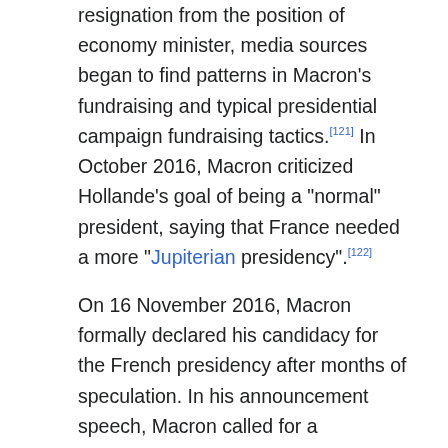resignation from the position of economy minister, media sources began to find patterns in Macron's fundraising and typical presidential campaign fundraising tactics.[121] In October 2016, Macron criticized Hollande's goal of being a "normal" president, saying that France needed a more "Jupiterian presidency".[122]
On 16 November 2016, Macron formally declared his candidacy for the French presidency after months of speculation. In his announcement speech, Macron called for a "democratic revolution" and promised to "unblock France".[123] Macron had wished that Hollande would join the race several months beforehand, saying that Hollande was the legitimate candidate for the Socialist Party.[124][125] A book was published on 24 November 2016 by Macron to support his campaign titled "Révolution", the book sold nearly 200,000 copies during its printing run and was one of the best selling books in France in 2016.[126][127][128]
Shortly after announcing his run, Jean-Christophe Cambadélis and Manuel Valls both asked Macron to run in